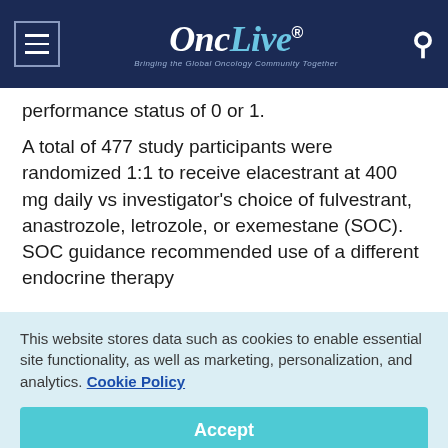OncLive® — Bringing the Global Oncology Community Together
performance status of 0 or 1.
A total of 477 study participants were randomized 1:1 to receive elacestrant at 400 mg daily vs investigator's choice of fulvestrant, anastrozole, letrozole, or exemestane (SOC). SOC guidance recommended use of a different endocrine therapy
This website stores data such as cookies to enable essential site functionality, as well as marketing, personalization, and analytics. Cookie Policy
Accept
Deny